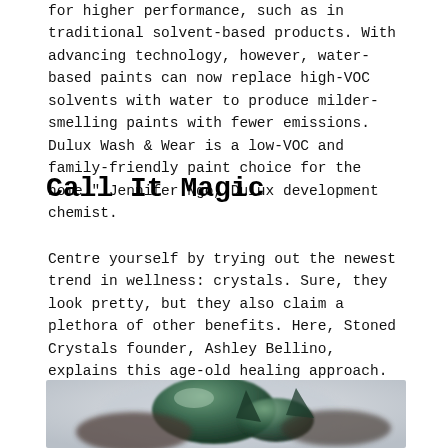for higher performance, such as in traditional solvent-based products. With advancing technology, however, water-based paints can now replace high-VOC solvents with water to produce milder-smelling paints with fewer emissions. Dulux Wash & Wear is a low-VOC and family-friendly paint choice for the home." Jennifer Ngo, Dulux development chemist.
Call It Magic
Centre yourself by trying out the newest trend in wellness: crystals. Sure, they look pretty, but they also claim a plethora of other benefits. Here, Stoned Crystals founder, Ashley Bellino, explains this age-old healing approach.
[Figure (photo): Close-up photograph of dark green crystals (possibly malachite or tourmaline) held in a hand, with a blurred light grey background.]